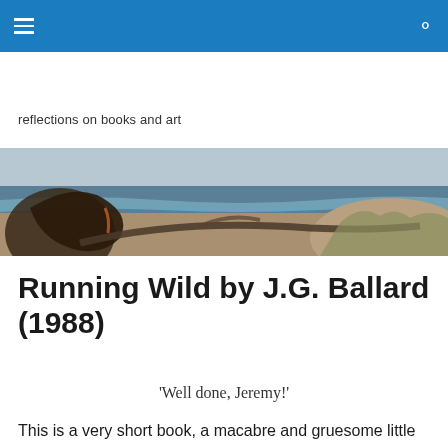reflections on books and art
[Figure (photo): Coastal beach scene with driftwood logs, sandy shore, ocean waves, and overcast sky in the background]
Running Wild by J.G. Ballard (1988)
'Well done, Jeremy!'
This is a very short book, a macabre and gruesome little